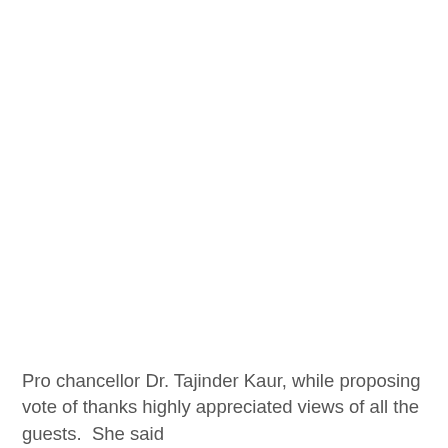Pro chancellor Dr. Tajinder Kaur, while proposing vote of thanks highly appreciated views of all the guests.  She said the objectives of co-operative societies are in consonance of